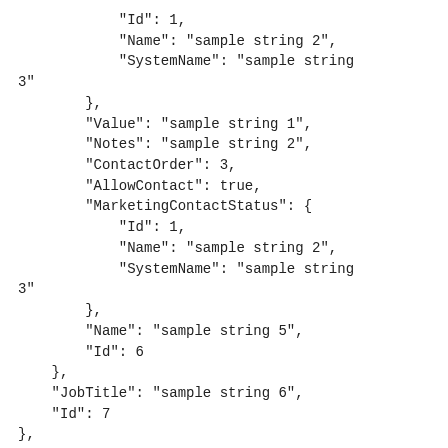"Id": 1,
            "Name": "sample string 2",
            "SystemName": "sample string
3"
        },
        "Value": "sample string 1",
        "Notes": "sample string 2",
        "ContactOrder": 3,
        "AllowContact": true,
        "MarketingContactStatus": {
            "Id": 1,
            "Name": "sample string 2",
            "SystemName": "sample string
3"
        },
        "Name": "sample string 5",
        "Id": 6
    },
    "JobTitle": "sample string 6",
    "Id": 7
},
    "Id": 5
}